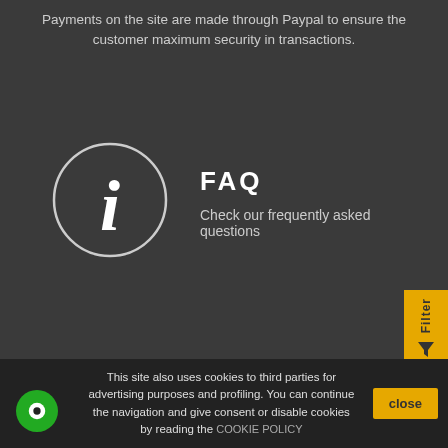Payments on the site are made through Paypal to ensure the customer maximum security in transactions.
[Figure (infographic): Circle with letter 'i' (information icon) next to FAQ section]
FAQ
Check our frequently asked questions
[Figure (other): Yellow Filter tab on right side with funnel icon]
[Figure (logo): Trovaprezzi.it logo card with 'Presente su' text and star rating]
This site also uses cookies to third parties for advertising purposes and profiling. You can continue the navigation and give consent or disable cookies by reading the COOKIE POLICY